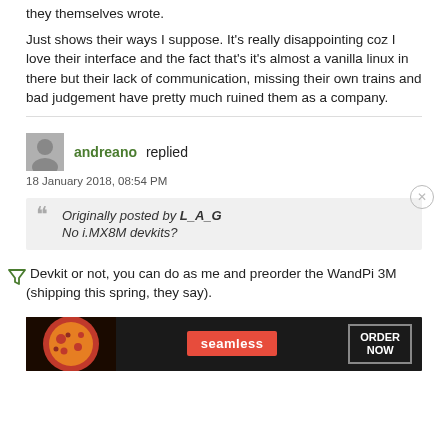they themselves wrote.
Just shows their ways I suppose. It's really disappointing coz I love their interface and the fact that's it's almost a vanilla linux in there but their lack of communication, missing their own trains and bad judgement have pretty much ruined them as a company.
andreano replied
18 January 2018, 08:54 PM
Originally posted by L_A_G
No i.MX8M devkits?
Devkit or not, you can do as me and preorder the WandPi 3M (shipping this spring, they say).
[Figure (other): Advertisement banner for Seamless food ordering service showing pizza image, Seamless logo button, and ORDER NOW button]